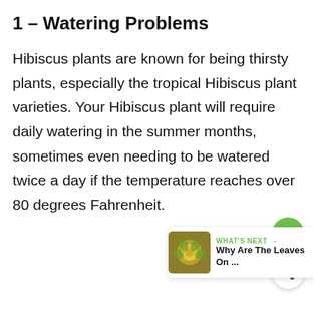1 – Watering Problems
Hibiscus plants are known for being thirsty plants, especially the tropical Hibiscus plant varieties. Your Hibiscus plant will require daily watering in the summer months, sometimes even needing to be watered twice a day if the temperature reaches over 80 degrees Fahrenheit.